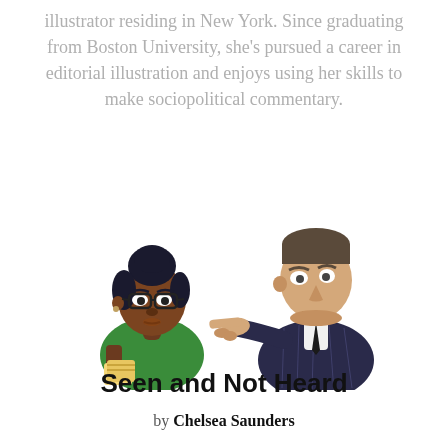illustrator residing in New York. Since graduating from Boston University, she's pursued a career in editorial illustration and enjoys using her skills to make sociopolitical commentary.
[Figure (illustration): Cartoon illustration showing two figures: a young Black woman with hair in a bun, wearing glasses and a green shirt, holding books, looking skeptically at a white man in a dark pinstripe suit who is pointing at her.]
Seen and Not Heard
by Chelsea Saunders